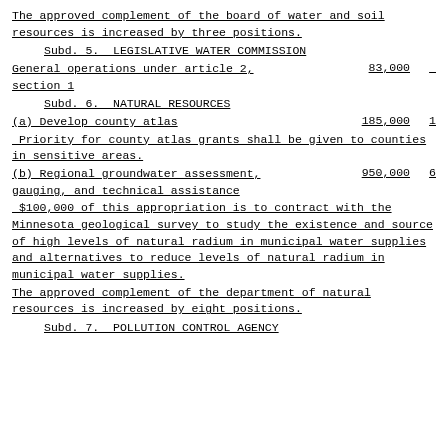The approved complement of the board of water and soil resources is increased by three positions.
Subd. 5.  LEGISLATIVE WATER COMMISSION
General operations under article 2, section 1    83,000
Subd. 6.  NATURAL RESOURCES
(a) Develop county atlas    185,000    1
Priority for county atlas grants shall be given to counties in sensitive areas.
(b) Regional groundwater assessment, gauging, and technical assistance    950,000    6
$100,000 of this appropriation is to contract with the Minnesota geological survey to study the existence and source of high levels of natural radium in municipal water supplies and alternatives to reduce levels of natural radium in municipal water supplies.
The approved complement of the department of natural resources is increased by eight positions.
Subd. 7.  POLLUTION CONTROL AGENCY